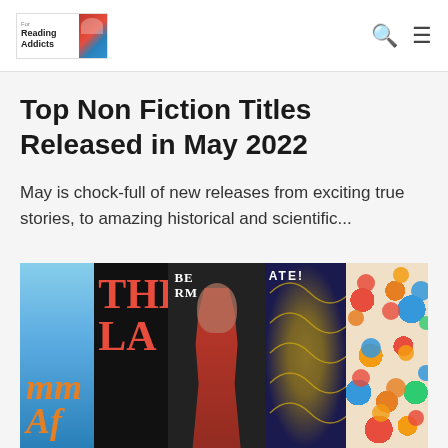For Reading Addicts [logo with nav icons]
Top Non Fiction Titles Released in May 2022
May is chock-full of new releases from exciting true stories, to amazing historical and scientific...
[Figure (photo): A collage strip of book covers including colorful titles with text fragments visible: orange italic text on blue sky background, red bold text on black background, a woman's face portrait, dark ornamental cover with gold design, and a floral/colorful cover.]